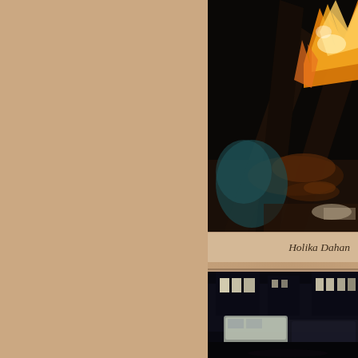[Figure (photo): Dark nighttime photo of a bonfire with flames and burning logs (Holika Dahan fire ceremony)]
Holika Dahan
[Figure (photo): Dark nighttime street scene with vehicles and buildings with lit windows in the background]